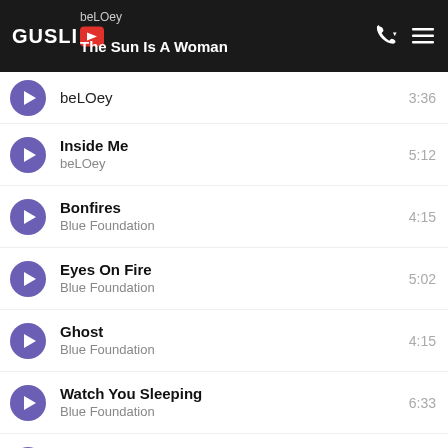GUSLIE — The Sun Is A Woman — beLOey
The Sun Is A Woman | beLOey | 3:36
Inside Me | beLOey | 5:12
Bonfires | Blue Foundation | 4:15
Eyes On Fire | Blue Foundation | 5:02
Ghost | Blue Foundation | 4:15
Watch You Sleeping | Blue Foundation | 6:33
Kerala | Bonobo | 3:57